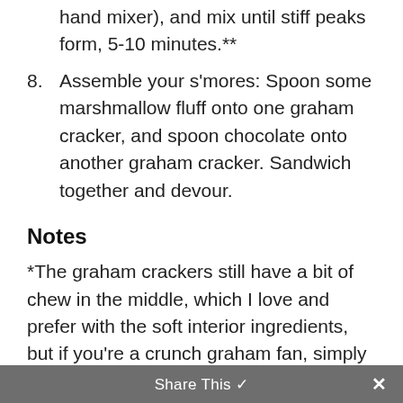hand mixer), and mix until stiff peaks form, 5-10 minutes.**
8. Assemble your s'mores: Spoon some marshmallow fluff onto one graham cracker, and spoon chocolate onto another graham cracker. Sandwich together and devour.
Notes
*The graham crackers still have a bit of chew in the middle, which I love and prefer with the soft interior ingredients, but if you're a crunch graham fan, simply bake them for a minute or two longer. Just be sure to keep an eye on them to be sure the bottoms don't burn!
**You'll definitely have some marshmallow fluff left f…
Share This ✓ ×